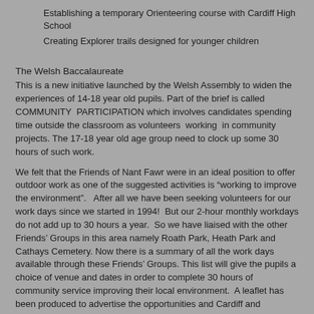Establishing a temporary Orienteering course with Cardiff High School
Creating Explorer trails designed for younger children
The Welsh Baccalaureate
This is a new initiative launched by the Welsh Assembly to widen the experiences of 14-18 year old pupils. Part of the brief is called COMMUNITY  PARTICIPATION which involves candidates spending time outside the classroom as volunteers  working  in community projects. The 17-18 year old age group need to clock up some 30 hours of such work.
We felt that the Friends of Nant Fawr were in an ideal position to offer outdoor work as one of the suggested activities is "working to improve the environment".   After all we have been seeking volunteers for our work days since we started in 1994!  But our 2-hour monthly workdays do not add up to 30 hours a year.  So we have liaised with the other Friends' Groups in this area namely Roath Park, Heath Park and Cathays Cemetery. Now there is a summary of all the work days available through these Friends' Groups. This list will give the pupils a choice of venue and dates in order to complete 30 hours of community service improving their local environment.  A leaflet has been produced to advertise the opportunities and Cardiff and Llanishen High Schools have agreed to pilot the project. So, hopefully, we may see some younger faces appearing on our work days!
The Orienteering Course
A trial run was made this summer by the ECO group of Cardiff High School pupils, aged 13-14, using the woods in Woods Covert, adjacent to their school. This project is in the early stage of